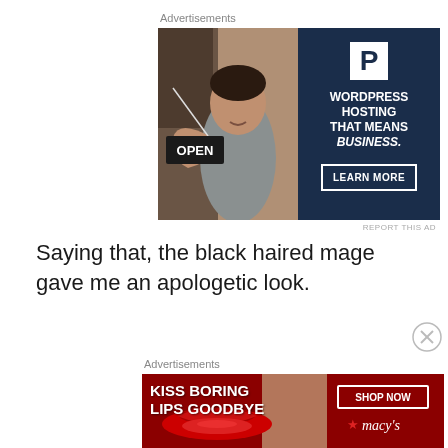Advertisements
[Figure (illustration): WordPress hosting advertisement showing a woman holding an OPEN sign on the left (photo), and navy blue panel on the right with WordPress P logo, text 'WORDPRESS HOSTING THAT MEANS BUSINESS.' and a 'LEARN MORE' button]
REPORT THIS AD
Saying that, the black haired mage gave me an apologetic look.
Advertisements
[Figure (illustration): Macy's lipstick advertisement with red background showing lips, text 'KISS BORING LIPS GOODBYE', 'SHOP NOW' button and Macy's star logo]
REPORT THIS AD